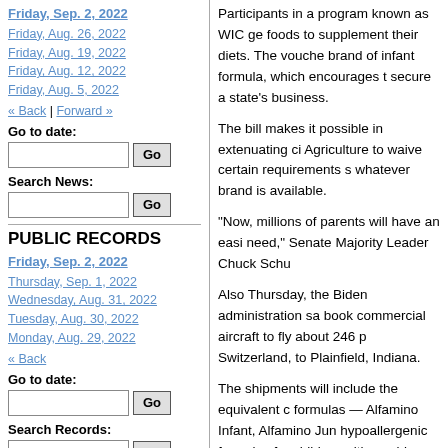Friday, Sep. 2, 2022
Friday, Aug. 26, 2022
Friday, Aug. 19, 2022
Friday, Aug. 12, 2022
Friday, Aug. 5, 2022
« Back | Forward »
Go to date:
Search News:
PUBLIC RECORDS
Friday, Sep. 2, 2022
Thursday, Sep. 1, 2022
Wednesday, Aug. 31, 2022
Tuesday, Aug. 30, 2022
Monday, Aug. 29, 2022
« Back
Go to date:
Search Records:
PUBLIC NOTICES
Friday, Sep. 2, 2022
Participants in a program known as WIC ge foods to supplement their diets. The vouche brand of infant formula, which encourages t secure a state's business.
The bill makes it possible in extenuating ci Agriculture to waive certain requirements s whatever brand is available.
"Now, millions of parents will have an easi need," Senate Majority Leader Chuck Schu
Also Thursday, the Biden administration sa book commercial aircraft to fly about 246 p Switzerland, to Plainfield, Indiana.
The shipments will include the equivalent c formulas — Alfamino Infant, Alfamino Jun hypoallergenic formulas for children with c said these are a priority because they serve supply.
Lawmakers are also considering boosting s with a $28 million emergency spending bill